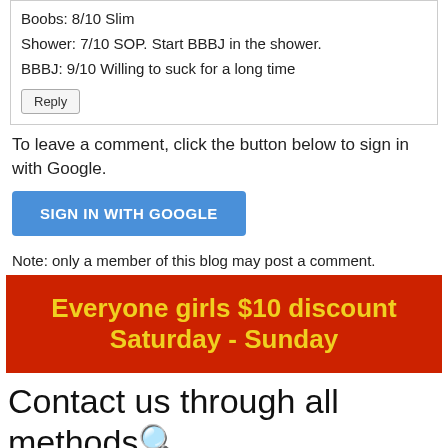Boobs: 8/10 Slim
Shower: 7/10 SOP. Start BBBJ in the shower.
BBBJ: 9/10 Willing to suck for a long time
Reply
To leave a comment, click the button below to sign in with Google.
SIGN IN WITH GOOGLE
Note: only a member of this blog may post a comment.
[Figure (infographic): Red banner with yellow bold text: Everyone girls $10 discount Saturday - Sunday]
Contact us through all methods🔍
| Whatsapp | Line | Skype |
| --- | --- | --- |
| [QR Code] | [QR Code] | [QR Code] |